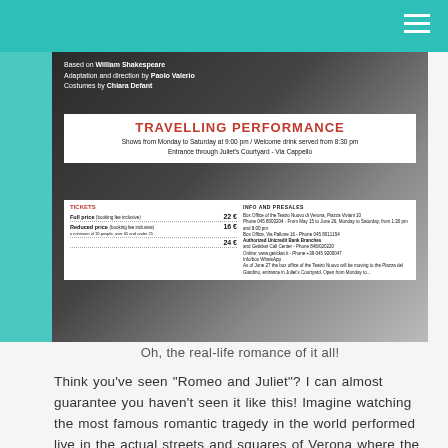[Figure (photo): A theatre poster for a Travelling Performance of Romeo and Juliet, based on William Shakespeare, adaptation and direction by Paolo Valerio, costumes by Chiara Defant. Shows from Monday to Saturday at 9:00 pm, welcome drink from 8:30 pm, entrance through Juliet's Courtyard - Via Cappello. Ticket prices: Full price 22€, Reduced price 16€, and 24€ option listed.]
Oh, the real-life romance of it all!
Think you've seen "Romeo and Juliet"? I can almost guarantee you haven't seen it like this!  Imagine watching the most famous romantic tragedy in the world performed live in the actual streets and squares of Verona where the play was originally set!
In good weather fans of Romeo and Juliet can watch live 'traveling' performances which begin in "Juliet's courtyard" off of Via Capelli, continue on her celebrated balcony and then